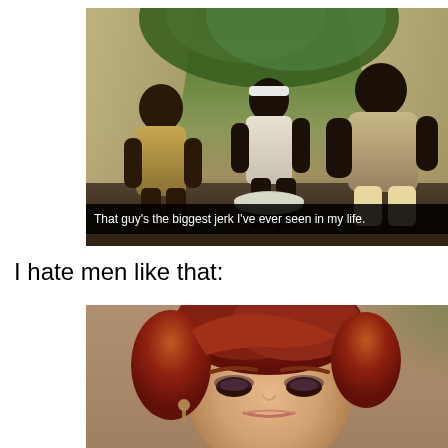[Figure (photo): Screenshot from a TV show or movie showing three men sitting outdoors near tents and tropical foliage. Subtitle reads: That guy's the biggest jerk I've ever seen in my life.]
I hate men like that:
[Figure (photo): Close-up photo of a woman with reddish-auburn upswept hair, wearing dramatic eye makeup, with a serious or skeptical expression. Blurred green background visible on the right.]